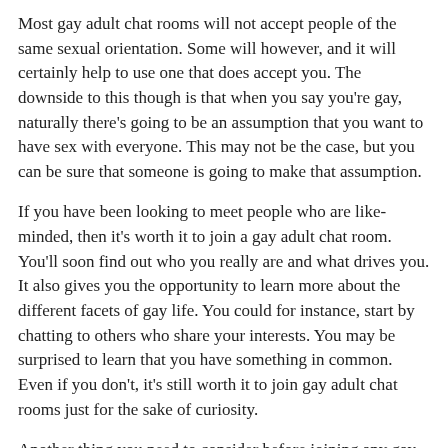Most gay adult chat rooms will not accept people of the same sexual orientation. Some will however, and it will certainly help to use one that does accept you. The downside to this though is that when you say you're gay, naturally there's going to be an assumption that you want to have sex with everyone. This may not be the case, but you can be sure that someone is going to make that assumption.
If you have been looking to meet people who are like-minded, then it's worth it to join a gay adult chat room. You'll soon find out who you really are and what drives you. It also gives you the opportunity to learn more about the different facets of gay life. You could for instance, start by chatting to others who share your interests. You may be surprised to learn that you have something in common. Even if you don't, it's still worth it to join gay adult chat rooms just for the sake of curiosity.
Another thing you need to consider before joining any gay adult chat room is safety. Most of them will not allow members under 18. Make sure you check their rules before you enter the site. This means you should know how to